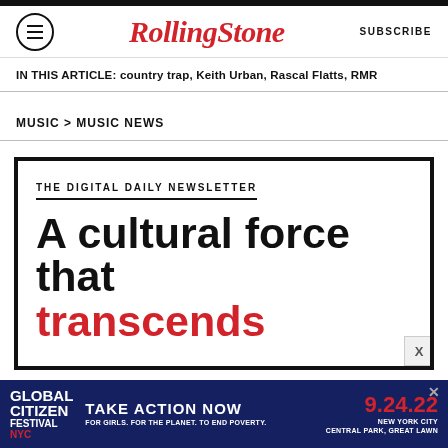RollingStone — SUBSCRIBE
IN THIS ARTICLE: country trap, Keith Urban, Rascal Flatts, RMR
MUSIC > MUSIC NEWS
THE DIGITAL DAILY NEWSLETTER — A cultural force that transcends
[Figure (infographic): Global Citizen Festival NYC advertisement banner: TAKE ACTION NOW — FOR GIRLS. FOR THE PLANET. TO END POVERTY. — 9.24.22 NEW YORK CITY CENTRAL PARK, GREAT LAWN]